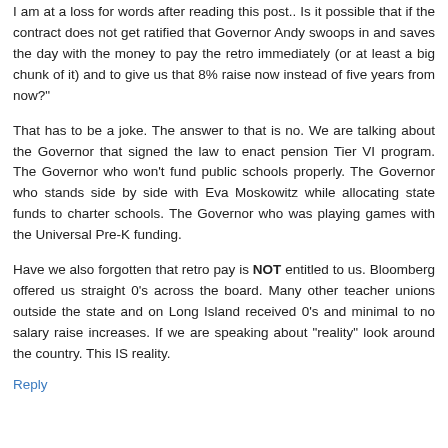I am at a loss for words after reading this post.. Is it possible that if the contract does not get ratified that Governor Andy swoops in and saves the day with the money to pay the retro immediately (or at least a big chunk of it) and to give us that 8% raise now instead of five years from now?"
That has to be a joke. The answer to that is no. We are talking about the Governor that signed the law to enact pension Tier VI program. The Governor who won't fund public schools properly. The Governor who stands side by side with Eva Moskowitz while allocating state funds to charter schools. The Governor who was playing games with the Universal Pre-K funding.
Have we also forgotten that retro pay is NOT entitled to us. Bloomberg offered us straight 0's across the board. Many other teacher unions outside the state and on Long Island received 0's and minimal to no salary raise increases. If we are speaking about "reality" look around the country. This IS reality.
Reply